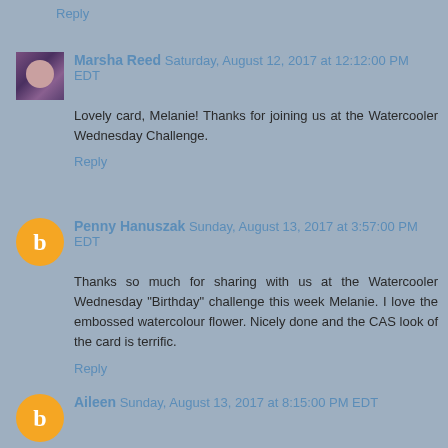Reply
Marsha Reed Saturday, August 12, 2017 at 12:12:00 PM EDT
Lovely card, Melanie! Thanks for joining us at the Watercooler Wednesday Challenge.
Reply
Penny Hanuszak Sunday, August 13, 2017 at 3:57:00 PM EDT
Thanks so much for sharing with us at the Watercooler Wednesday "Birthday" challenge this week Melanie. I love the embossed watercolour flower. Nicely done and the CAS look of the card is terrific.
Reply
Aileen Sunday, August 13, 2017 at 8:15:00 PM EDT